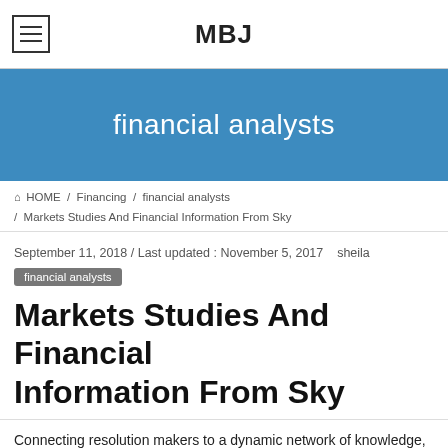MBJ
financial analysts
HOME / Financing / financial analysts / Markets Studies And Financial Information From Sky
September 11, 2018 / Last updated : November 5, 2017   sheila
financial analysts
Markets Studies And Financial Information From Sky
Connecting resolution makers to a dynamic network of knowledge, people and ideas, Bloomberg quickly and accurately delivers business and monetary information, news and insight around the globe. Following the discharge of the monetary outcomes, Alexion